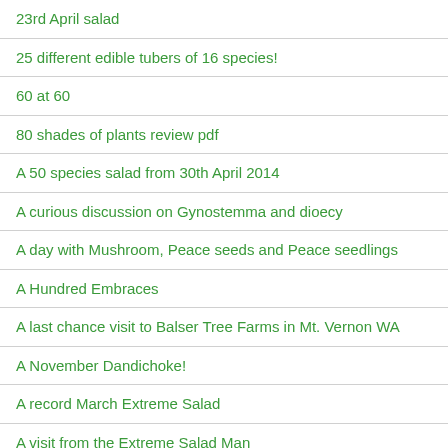23rd April salad
25 different edible tubers of 16 species!
60 at 60
80 shades of plants review pdf
A 50 species salad from 30th April 2014
A curious discussion on Gynostemma and dioecy
A day with Mushroom, Peace seeds and Peace seedlings
A Hundred Embraces
A last chance visit to Balser Tree Farms in Mt. Vernon WA
A November Dandichoke!
A record March Extreme Salad
A visit from the Extreme Salad Man
A year in the life of the Persian Shallot